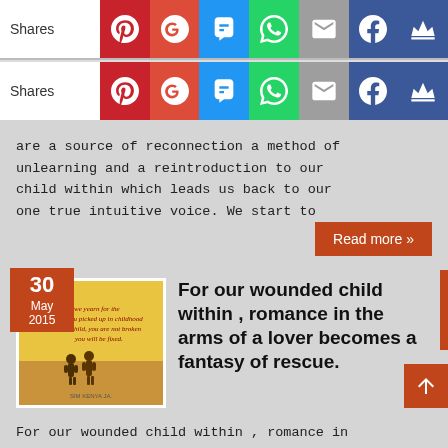[Figure (infographic): Social share bar row 1 with Pinterest, Google+, SMS, WhatsApp, Email, Facebook, Crown icons. Label: Shares]
[Figure (infographic): Social share bar row 2 with Pinterest, Google+, SMS, WhatsApp, Email, Facebook, Crown icons. Label: Shares]
are a source of reconnection a method of unlearning and a reintroduction to our child within which leads us back to our one true intuitive voice. We start to
Read more »
[Figure (illustration): Thumbnail image dated 30 May 2015 showing two children silhouette on yellow background]
For our wounded child within , romance in the arms of a lover becomes a fantasy of rescue.
For our wounded child within , romance in the arms of a lover becomes a fantasy of rescue.We hope that our unmet needs of childhood will be healed at last in romantic love. To us, the perfect